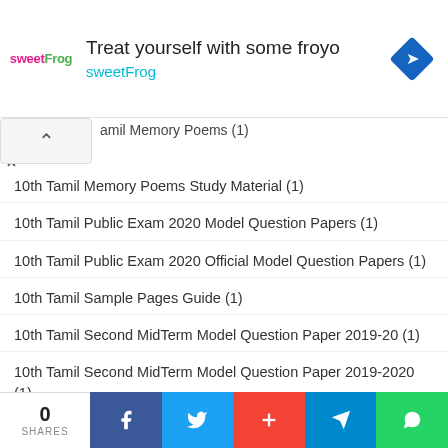[Figure (screenshot): Advertisement banner for sweetFrog frozen yogurt with logo, tagline 'Treat yourself with some froyo', and a blue diamond navigation icon]
amil Memory Poems (1) [partial, scrolled]
10th Tamil Memory Poems Study Material (1)
10th Tamil Public Exam 2020 Model Question Papers (1)
10th Tamil Public Exam 2020 Official Model Question Papers (1)
10th Tamil Sample Pages Guide (1)
10th Tamil Second MidTerm Model Question Paper 2019-20 (1)
10th Tamil Second MidTerm Model Question Paper 2019-2020 (1)
10th Tamil Second MidTerm Question Paper 2019-20 (1)
0 SHARES | Facebook | Twitter | + | Telegram | WhatsApp